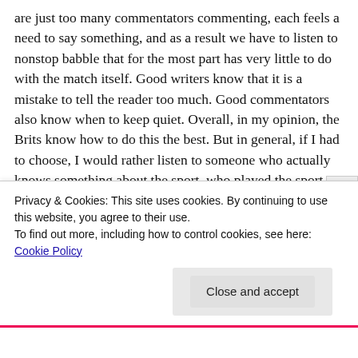are just too many commentators commenting, each feels a need to say something, and as a result we have to listen to nonstop babble that for the most part has very little to do with the match itself. Good writers know that it is a mistake to tell the reader too much. Good commentators also know when to keep quiet. Overall, in my opinion, the Brits know how to do this the best. But in general, if I had to choose, I would rather listen to someone who actually knows something about the sport, who played the sport at a high level, like a McEnroe, than someone like Bret Haber or Mary Carillo, or worst of the worst, Chris Fowler (not that these three names comes close to
Privacy & Cookies: This site uses cookies. By continuing to use this website, you agree to their use.
To find out more, including how to control cookies, see here: Cookie Policy
Close and accept